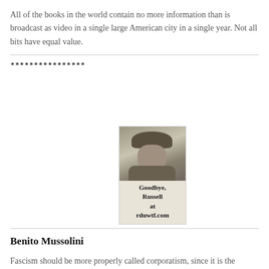All of the books in the world contain no more information than is broadcast as video in a single large American city in a single year. Not all bits have equal value.
****************
[Figure (photo): Black and white photograph of a man wearing a cowboy hat, looking at the camera. Caption reads: Goodbye, Russell at rduwtf.com]
Goodbye, Russell at rduwtf.com
Benito Mussolini
Fascism should be more properly called corporatism, since it is the